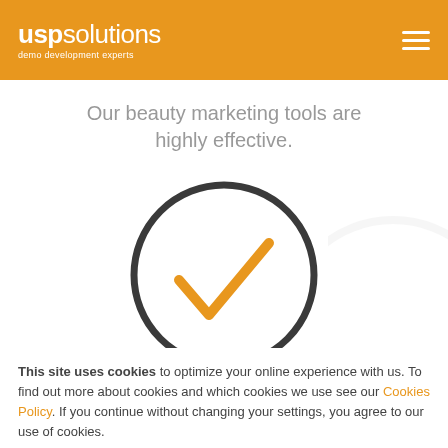[Figure (logo): USP Solutions logo with text 'uspsolutions' and tagline 'demo development experts' on orange background with hamburger menu icon]
Our beauty marketing tools are highly effective.
[Figure (illustration): Large dark circle outline with an orange checkmark inside, on white background with faint watermark circle]
This site uses cookies to optimize your online experience with us. To find out more about cookies and which cookies we use see our Cookies Policy. If you continue without changing your settings, you agree to our use of cookies.
I ACCEPT